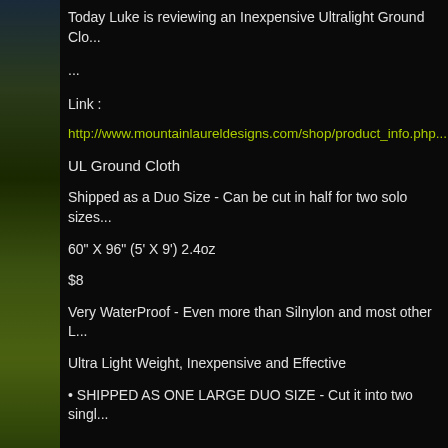Today Luke is reviewing an Inexpensive Ultralight Ground Clo...
...
Link :
http://www.mountainlaureldesigns.com/shop/product_info.php...
UL Ground Cloth
Shipped as a Duo Size - Can be cut in half for two solo sizes...
60" X 96" (5' X 9') 2.4oz
$8
Very WaterProof - Even more than Silnylon and most other L...
Ultra Light Weight, Inexpensive and Effective
• SHIPPED AS ONE LARGE DUO SIZE - Cut it into two singl...